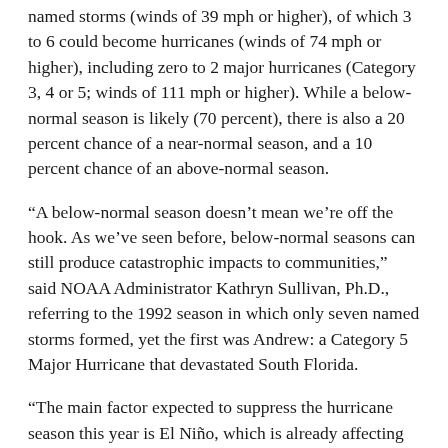named storms (winds of 39 mph or higher), of which 3 to 6 could become hurricanes (winds of 74 mph or higher), including zero to 2 major hurricanes (Category 3, 4 or 5; winds of 111 mph or higher). While a below-normal season is likely (70 percent), there is also a 20 percent chance of a near-normal season, and a 10 percent chance of an above-normal season.
“A below-normal season doesn’t mean we’re off the hook. As we’ve seen before, below-normal seasons can still produce catastrophic impacts to communities,” said NOAA Administrator Kathryn Sullivan, Ph.D., referring to the 1992 season in which only seven named storms formed, yet the first was Andrew: a Category 5 Major Hurricane that devastated South Florida.
“The main factor expected to suppress the hurricane season this year is El Niño, which is already affecting wind and pressure patterns, and is forecast to last through the hurricane season,” said Gerry Bell, Ph.D., lead seasonal hurricane forecaster with NOAA’s Climate Prediction Center. “El Niño may also intensify as the season progresses, and is expected to have its greatest influence during the peak months of the season. We also expect